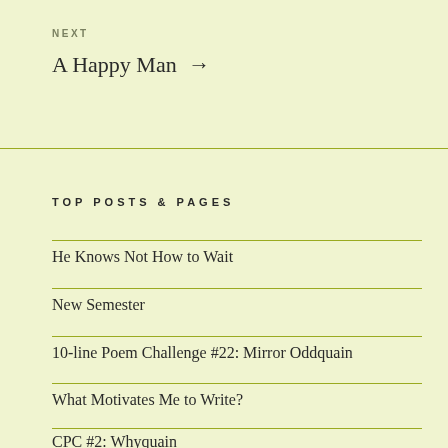NEXT
A Happy Man →
TOP POSTS & PAGES
He Knows Not How to Wait
New Semester
10-line Poem Challenge #22: Mirror Oddquain
What Motivates Me to Write?
CPC #2: Whyquain